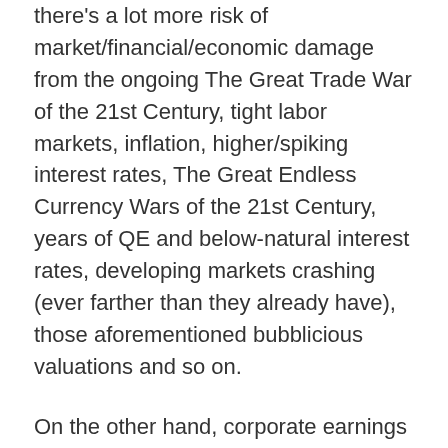there's a lot more risk of market/financial/economic damage from the ongoing The Great Trade War of the 21st Century, tight labor markets, inflation, higher/spiking interest rates, The Great Endless Currency Wars of the 21st Century, years of QE and below-natural interest rates, developing markets crashing (ever farther than they already have), those aforementioned bubblicious valuations and so on.
On the other hand, corporate earnings growth remain strong (for now?), there's still trillions of dollars of corporate stock buybacks to hit, and all these employed and in-demand people who are both labor and consumers feel pretty good no matter the recent stock market volatility.
So let's not call an end to the Bubble-Blowing Bull Market just yet, even as we recognize that it could reflexively